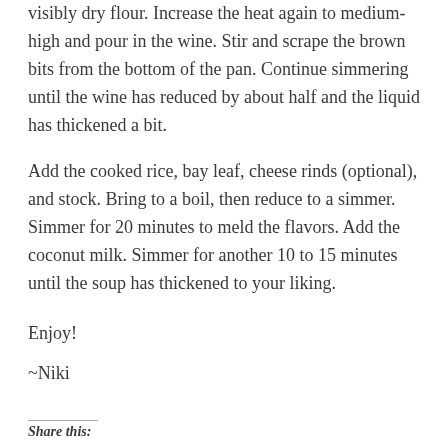visibly dry flour. Increase the heat again to medium-high and pour in the wine. Stir and scrape the brown bits from the bottom of the pan. Continue simmering until the wine has reduced by about half and the liquid has thickened a bit.
Add the cooked rice, bay leaf, cheese rinds (optional), and stock. Bring to a boil, then reduce to a simmer. Simmer for 20 minutes to meld the flavors. Add the coconut milk. Simmer for another 10 to 15 minutes until the soup has thickened to your liking.
Enjoy!
~Niki
Share this: